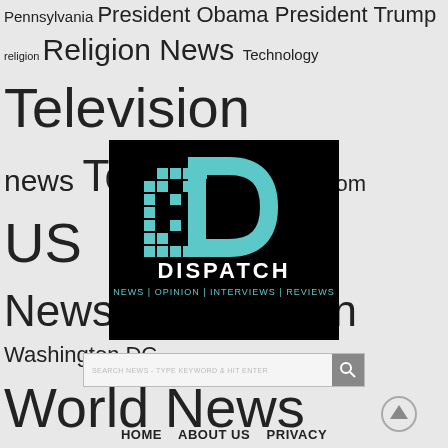Pennsylvania President Obama President Trump religion Religion News Technology Television news Texas United Kingdom US News Washington Washington DC World News
[Figure (logo): Dispatch news logo on black background with teal pixelated D icon and text: DISPATCH NEWS | OPINION | INTERVIEWS | REVIEWS]
SEARCH NEWS - TYPE KEYWORD & HIT ENTER
HOME   ABOUT US   PRIVACY